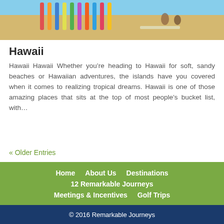[Figure (photo): Beach scene with colorful surfboards leaning against a rack on sandy beach]
Hawaii
Hawaii Hawaii Whether you’re heading to Hawaii for soft, sandy beaches or Hawaiian adventures, the islands have you covered when it comes to realizing tropical dreams. Hawaii is one of those amazing places that sits at the top of most people’s bucket list, with…
« Older Entries
Home  About Us  Destinations  12 Remarkable Journeys  Meetings & Incentives  Golf Trips
© 2016 Remarkable Journeys